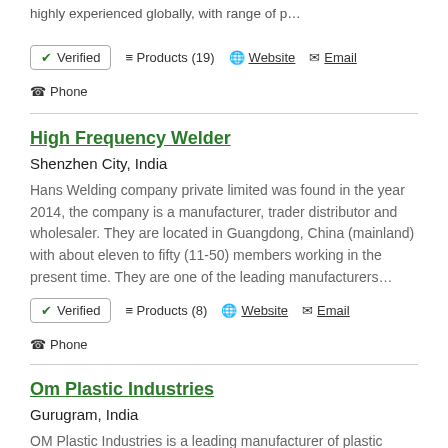highly experienced globally, with range of p…
✔ Verified  ≡ Products (19)  🌐 Website  ✉ Email  ☎ Phone
High Frequency Welder
Shenzhen City, India
Hans Welding company private limited was found in the year 2014, the company is a manufacturer, trader distributor and wholesaler. They are located in Guangdong, China (mainland) with about eleven to fifty (11-50) members working in the present time. They are one of the leading manufacturers…
✔ Verified  ≡ Products (8)  🌐 Website  ✉ Email  ☎ Phone
Om Plastic Industries
Gurugram, India
OM Plastic Industries is a leading manufacturer of plastic injection molded, Rubber Molded & Vinyl Dip Molded components and Moulds & related services. We consistently deliver value-added solutions, high-quality products, and cost-effective manufacturing techniques to various targete…